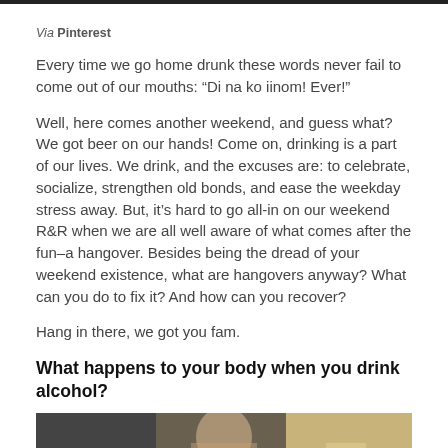Via Pinterest
Every time we go home drunk these words never fail to come out of our mouths: “Di na ko iinom! Ever!”
Well, here comes another weekend, and guess what? We got beer on our hands! Come on, drinking is a part of our lives. We drink, and the excuses are: to celebrate, socialize, strengthen old bonds, and ease the weekday stress away. But, it’s hard to go all-in on our weekend R&R when we are all well aware of what comes after the fun–a hangover. Besides being the dread of your weekend existence, what are hangovers anyway? What can you do to fix it? And how can you recover?
Hang in there, we got you fam.
What happens to your body when you drink alcohol?
[Figure (photo): A person sitting indoors, partial view of a man in a room setting.]